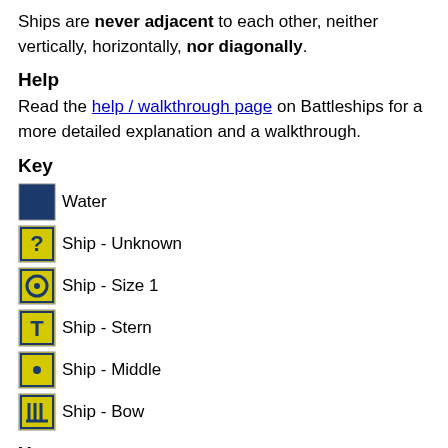Ships are never adjacent to each other, neither vertically, horizontally, nor diagonally.
Help
Read the help / walkthrough page on Battleships for a more detailed explanation and a walkthrough.
Key
Water
Ship - Unknown
Ship - Size 1
Ship - Stern
Ship - Middle
Ship - Bow
Usage
Note: only when supported by your computer / device / browser / etc.
Left-click = Blank >> Water >> Ship >> Blank.
Right-click = Blank >> Ship >> Water >> Blank.